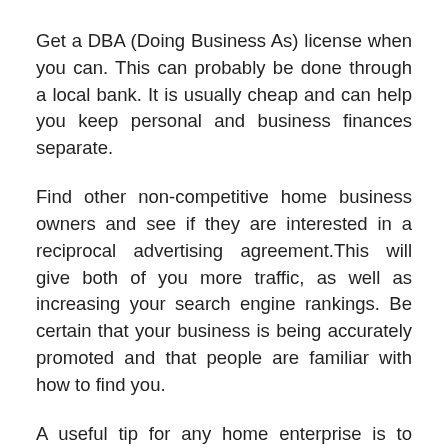Get a DBA (Doing Business As) license when you can. This can probably be done through a local bank. It is usually cheap and can help you keep personal and business finances separate.
Find other non-competitive home business owners and see if they are interested in a reciprocal advertising agreement.This will give both of you more traffic, as well as increasing your search engine rankings. Be certain that your business is being accurately promoted and that people are familiar with how to find you.
A useful tip for any home enterprise is to investigate affiliate program. This is great to do because it allows you to put your business and increase profits. Do your homework and find affiliate programs you are best for you.
The...